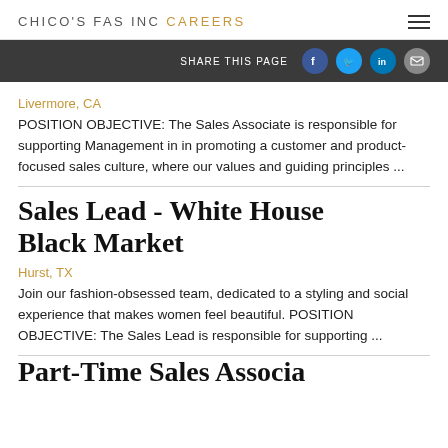CHICO'S FAS INC CAREERS
SHARE THIS PAGE
Livermore, CA
POSITION OBJECTIVE: The Sales Associate is responsible for supporting Management in in promoting a customer and product-focused sales culture, where our values and guiding principles ...
Sales Lead - White House Black Market
Hurst, TX
Join our fashion-obsessed team, dedicated to a styling and social experience that makes women feel beautiful. POSITION OBJECTIVE: The Sales Lead is responsible for supporting ...
Part-Time Sales Associate...